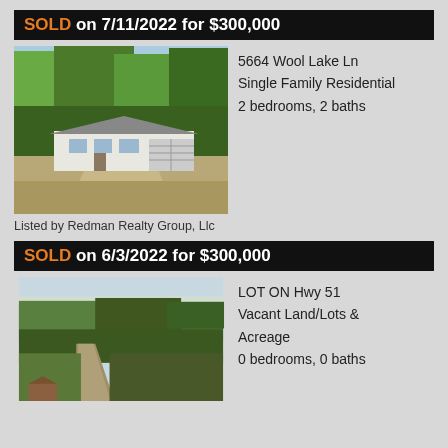SOLD on 7/11/2022 for $300,000
[Figure (photo): Exterior photo of a single-family residential home at 5664 Wool Lake Ln, surrounded by trees, with a garage, on a dirt driveway.]
5664 Wool Lake Ln
Single Family Residential
2 bedrooms, 2 baths
Listed by Redman Realty Group, Llc
SOLD on 6/3/2022 for $300,000
[Figure (photo): Aerial photo of a vacant wooded lot with a road/path visible through the forest and a small structure near the bottom.]
LOT ON Hwy 51
Vacant Land/Lots & Acreage
0 bedrooms, 0 baths